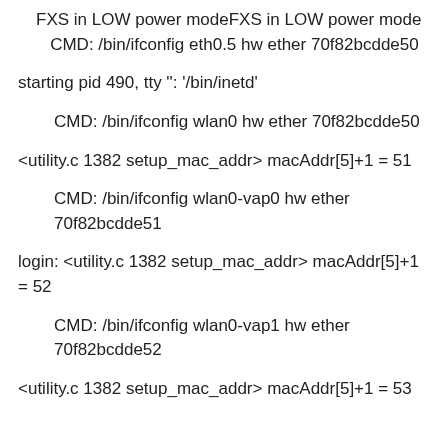FXS in LOW power modeFXS in LOW power mode   CMD: /bin/ifconfig eth0.5 hw ether 70f82bcdde50
starting pid 490, tty '': '/bin/inetd'
CMD: /bin/ifconfig wlan0 hw ether 70f82bcdde50
<utility.c 1382 setup_mac_addr> macAddr[5]+1 = 51
CMD: /bin/ifconfig wlan0-vap0 hw ether 70f82bcdde51
login: <utility.c 1382 setup_mac_addr> macAddr[5]+1 = 52
CMD: /bin/ifconfig wlan0-vap1 hw ether 70f82bcdde52
<utility.c 1382 setup_mac_addr> macAddr[5]+1 = 53